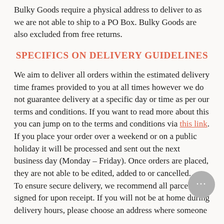Bulky Goods require a physical address to deliver to as we are not able to ship to a PO Box. Bulky Goods are also excluded from free returns.
SPECIFICS ON DELIVERY GUIDELINES
We aim to deliver all orders within the estimated delivery time frames provided to you at all times however we do not guarantee delivery at a specific day or time as per our terms and conditions. If you want to read more about this you can jump on to the terms and conditions via this link. If you place your order over a weekend or on a public holiday it will be processed and sent out the next business day (Monday – Friday). Once orders are placed, they are not able to be edited, added to or cancelled. To ensure secure delivery, we recommend all parcels are signed for upon receipt. If you will not be at home during delivery hours, please choose an address where someone will be available to accept your parcel. Alternatively, a